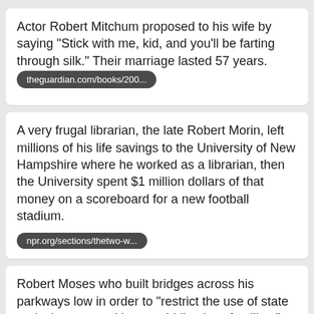Actor Robert Mitchum proposed to his wife by saying "Stick with me, kid, and you'll be farting through silk." Their marriage lasted 57 years.
theguardian.com/books/200...
A very frugal librarian, the late Robert Morin, left millions of his life savings to the University of New Hampshire where he worked as a librarian, then the University spent $1 million dollars of that money on a scoreboard for a new football stadium.
npr.org/sections/thetwo-w...
Robert Moses who built bridges across his parkways low in order to "restrict the use of state parks by poor and lower-middle-class families," who did not own cars and would arrive by bus.